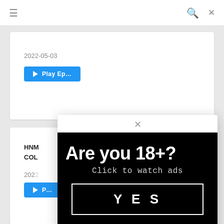≡  🔍  ✕
2022-05-03
[Figure (screenshot): Blue play button partially visible]
HNM... COL...
2022-...
[Figure (infographic): Age verification modal popup on black background. Text: 'Are you 18+?' 'Click to watch ads' with a YES button.]
DVDMS 687 MM & Magic Mirror Flight 2 Disc 8